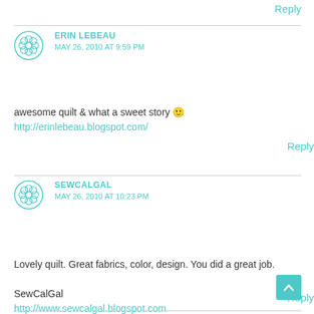Reply
ERIN LEBEAU
MAY 26, 2010 AT 9:59 PM
awesome quilt & what a sweet story 🙂
http://erinlebeau.blogspot.com/
Reply
SEWCALGAL
MAY 26, 2010 AT 10:23 PM
Lovely quilt. Great fabrics, color, design. You did a great job.

SewCalGal
http://www.sewcalgal.blogspot.com
Reply